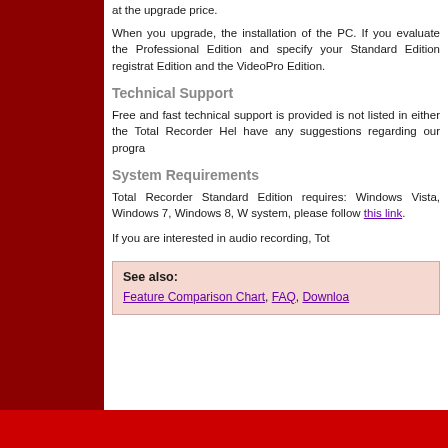at the upgrade price.
When you upgrade, the installation of the PC. If you evaluate the Professional Edition and specify your Standard Edition registration Edition and the VideoPro Edition.
Technical Support
Free and fast technical support is provided is not listed in either the Total Recorder Help have any suggestions regarding our program.
System Requirements
Total Recorder Standard Edition requires: Windows Vista, Windows 7, Windows 8, W system, please follow this link.
If you are interested in audio recording, Tot
See also:
Feature Comparison Chart, FAQ, Download